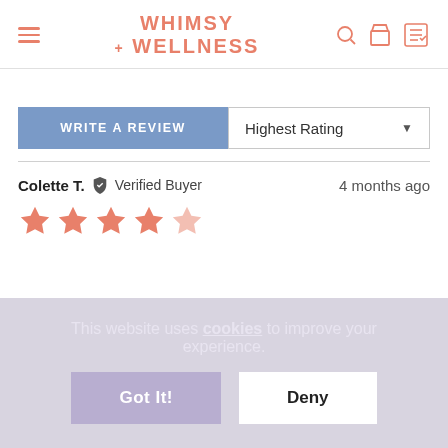Whimsy + Wellness
WRITE A REVIEW
Highest Rating
Colette T.  Verified Buyer  4 months ago
[Figure (other): 5 orange/salmon star rating icons]
This website uses cookies to improve your experience.
Got It!
Deny